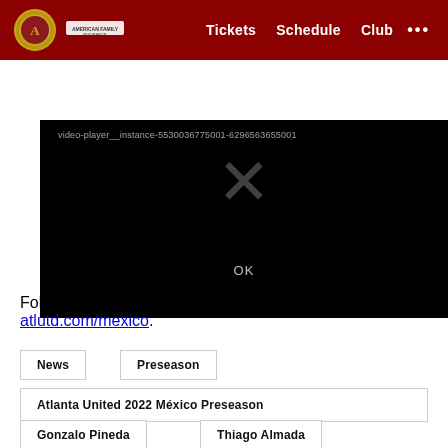Atlanta United FC navigation bar with Tickets, Schedule, Club links
[Figure (screenshot): Video player error screen showing instance ID 'video-player__instance-5530036775001-6296563655001' with an X icon and OK button on black background]
Follow our daily updates from Mexico at atlutd.com/mexico.
News
Preseason
Atlanta United 2022 México Preseason
Gonzalo Pineda
Thiago Almada